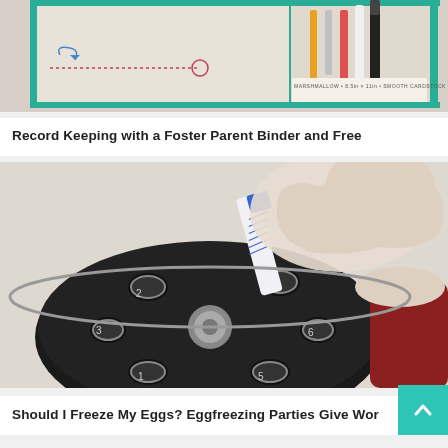[Figure (photo): Photo of a Foster Parent Binder with a teal/green frame, decorative doodles, pencil holder with markers and pencils, and paper with text reading MARSHMALLOW, 8.5in x 11in, SMOOTH CARDSTOCK, 50 SH]
Record Keeping with a Foster Parent Binder and Free
[Figure (photo): Close-up photo of a gloved hand inserting a labeled tube/vial into a centrifuge rotor with multiple slots numbered 1-6, medical/laboratory setting]
Should I Freeze My Eggs? Eggfreezing Parties Give Wor